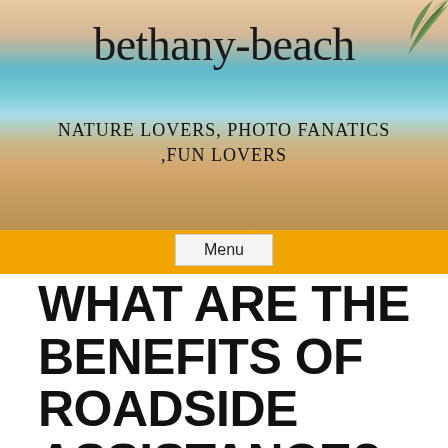[Figure (photo): Beach hero image with turquoise ocean water, sandy beach, and palm leaf in top right corner]
bethany-beach
NATURE LOVERS, PHOTO FANATICS ,FUN LOVERS
Menu
WHAT ARE THE BENEFITS OF ROADSIDE ASSISTANCE?